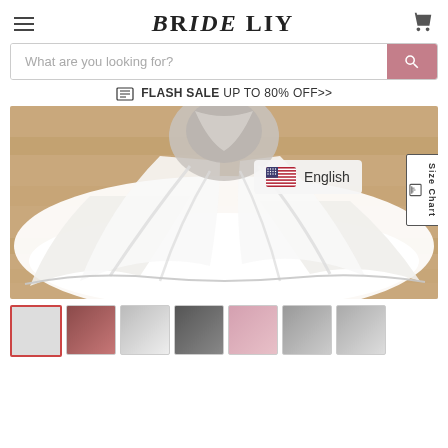[Figure (logo): BrIDE LILY logo with hamburger menu on left and shopping cart icon on right]
[Figure (screenshot): Search bar with placeholder 'What are you looking for?' and pink search button]
FLASH SALE UP TO 80% OFF>>
[Figure (photo): Wedding dress photo showing white flowing gown with long train spread on wooden floor, with English language selector overlay and Size Chart tab]
[Figure (photo): Row of thumbnail images of wedding dresses in various styles and colors]